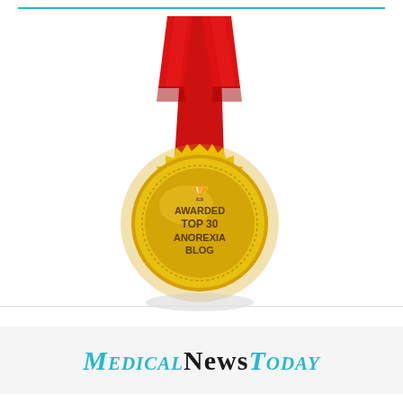[Figure (illustration): Gold award medal with red ribbon, text reading 'AWARDED TOP 30 ANOREXIA BLOG' with a small trophy icon at top center of medal]
[Figure (logo): MedicalNewsToday logo in teal/cyan and black serif font with small-caps styling]